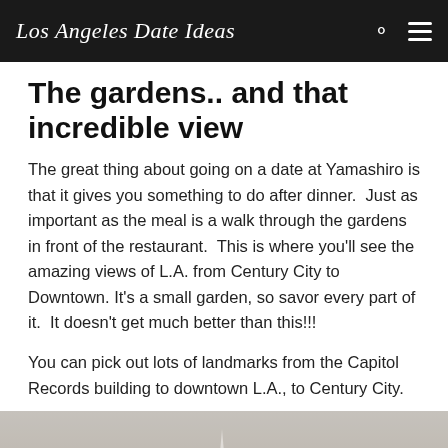Los Angeles Date Ideas
The gardens.. and that incredible view
The great thing about going on a date at Yamashiro is that it gives you something to do after dinner.  Just as important as the meal is a walk through the gardens in front of the restaurant.  This is where you'll see the amazing views of L.A. from Century City to Downtown.  It's a small garden, so savor every part of it.  It doesn't get much better than this!!!
You can pick out lots of landmarks from the Capitol Records building to downtown L.A., to Century City.
[Figure (photo): A hazy panoramic photograph of the Los Angeles skyline showing buildings, a tall white spire, and misty hills in the background.]